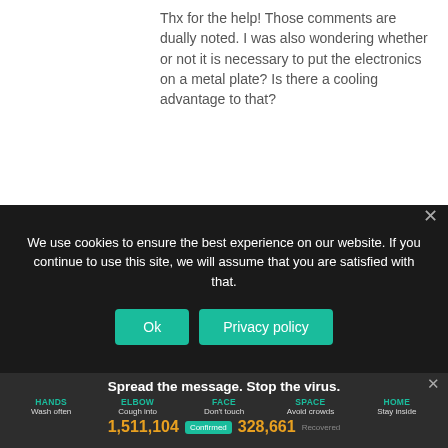Thx for the help! Those comments are dually noted. I was also wondering whether or not it is necessary to put the electronics on a metal plate? Is there a cooling advantage to that?
We use cookies to ensure the best experience on our website. If you continue to use this site, we will assume that you are satisfied with that.
Spread the message. Stop the virus.
HANDS Wash often  ELBOW Cough into  FACE Don't touch  SPACE Avoid crowds  HOME Stay inside
1,511,104  Confirmed  328,661  Recovered